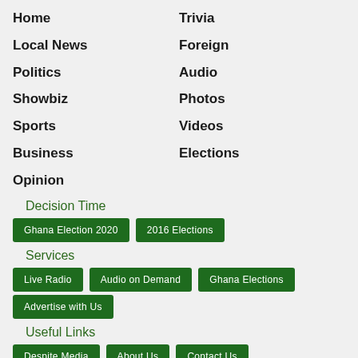Home
Trivia
Local News
Foreign
Politics
Audio
Showbiz
Photos
Sports
Videos
Business
Elections
Opinion
Decision Time
Ghana Election 2020
2016 Elections
Services
Live Radio
Audio on Demand
Ghana Elections
Advertise with Us
Useful Links
Despite Media
About Us
Contact Us
Feedback Form
Terms and Conditions
Privacy